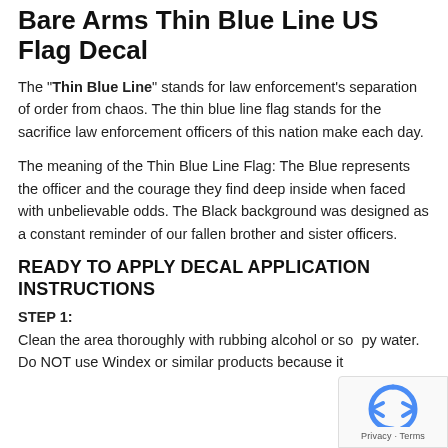Bare Arms Thin Blue Line US Flag Decal
The "Thin Blue Line" stands for law enforcement's separation of order from chaos. The thin blue line flag stands for the sacrifice law enforcement officers of this nation make each day.
The meaning of the Thin Blue Line Flag: The Blue represents the officer and the courage they find deep inside when faced with unbelievable odds. The Black background was designed as a constant reminder of our fallen brother and sister officers.
READY TO APPLY DECAL APPLICATION INSTRUCTIONS
STEP 1:
Clean the area thoroughly with rubbing alcohol or soapy water. Do NOT use Windex or similar products because it